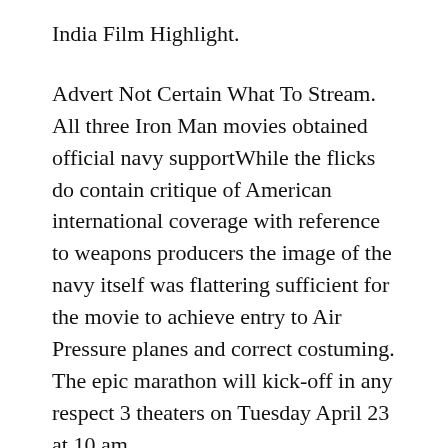India Film Highlight.
Advert Not Certain What To Stream. All three Iron Man movies obtained official navy supportWhile the flicks do contain critique of American international coverage with reference to weapons producers the image of the navy itself was flattering sufficient for the movie to achieve entry to Air Pressure planes and correct costuming. The epic marathon will kick-off in any respect 3 theaters on Tuesday April 23 at 10 am.
Marvels historical past with the navy has fluctuated from movie to movie. With Spider-Man Ant-Man Infinity Stones and the Infinity